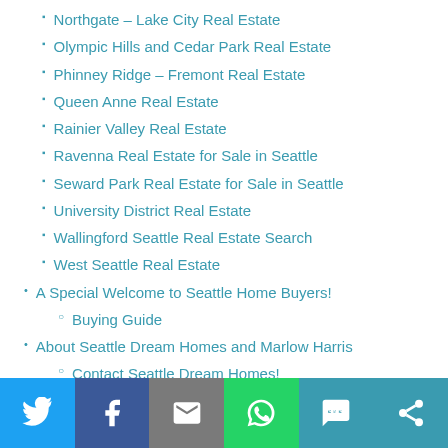Northgate – Lake City Real Estate
Olympic Hills and Cedar Park Real Estate
Phinney Ridge – Fremont Real Estate
Queen Anne Real Estate
Rainier Valley Real Estate
Ravenna Real Estate for Sale in Seattle
Seward Park Real Estate for Sale in Seattle
University District Real Estate
Wallingford Seattle Real Estate Search
West Seattle Real Estate
A Special Welcome to Seattle Home Buyers!
Buying Guide
About Seattle Dream Homes and Marlow Harris
Contact Seattle Dream Homes!
About Windermere Foundation – Giving Back
About Windermere Real Estate
Beacon Hill Duplex for Sale